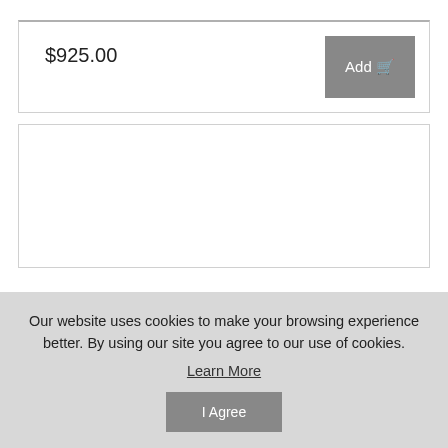$925.00
Add
[Figure (photo): Product image card showing a partial view of a person (top of head/hair visible at bottom of the card area)]
Our website uses cookies to make your browsing experience better. By using our site you agree to our use of cookies. Learn More
I Agree